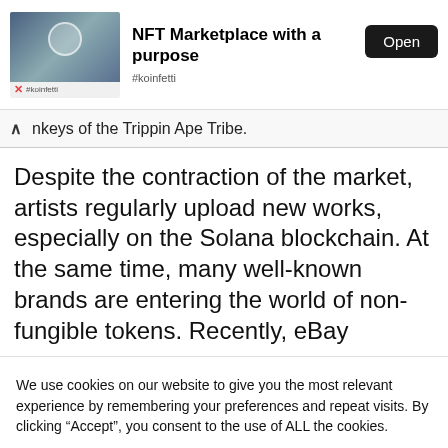[Figure (screenshot): Ad banner for NFT Marketplace app with thumbnail image, title 'NFT Marketplace with a purpose', Open button, and #koinfetti hashtag]
nkeys of the Trippin Ape Tribe.
Despite the contraction of the market, artists regularly upload new works, especially on the Solana blockchain. At the same time, many well-known brands are entering the world of non-fungible tokens. Recently, eBay
We use cookies on our website to give you the most relevant experience by remembering your preferences and repeat visits. By clicking “Accept”, you consent to the use of ALL the cookies.
Do not sell my personal information.
Cookie Settings
Accept